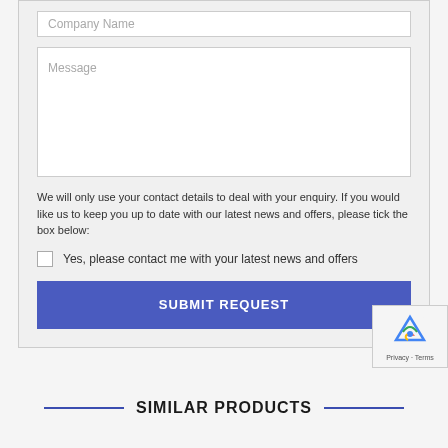Company Name
Message
We will only use your contact details to deal with your enquiry. If you would like us to keep you up to date with our latest news and offers, please tick the box below:
Yes, please contact me with your latest news and offers
SUBMIT REQUEST
SIMILAR PRODUCTS